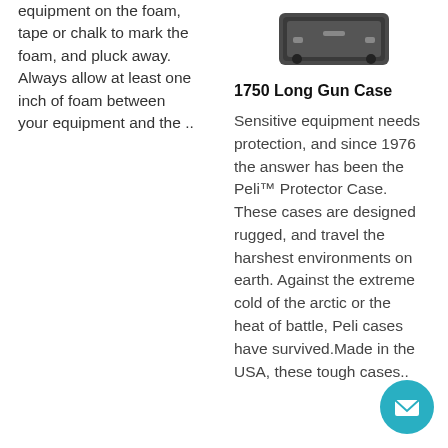equipment on the foam, tape or chalk to mark the foam, and pluck away. Always allow at least one inch of foam between your equipment and the ..
[Figure (photo): Photo of a Peli long gun case, dark colored, shown at top of right column]
1750 Long Gun Case
Sensitive equipment needs protection, and since 1976 the answer has been the Peli™ Protector Case. These cases are designed rugged, and travel the harshest environments on earth. Against the extreme cold of the arctic or the heat of battle, Peli cases have survived.Made in the USA, these tough cases..